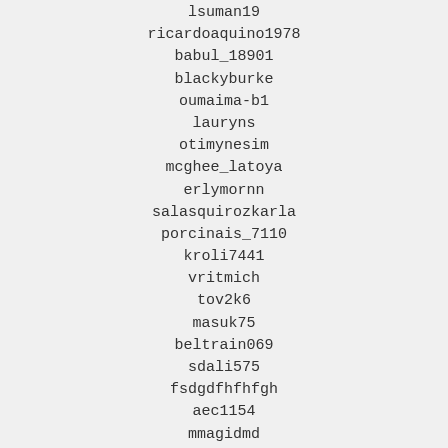lsuman19
ricardoaquino1978
babul_18901
blackyburke
oumaima-b1
lauryns
otimynesim
mcghee_latoya
erlymornn
salasquirozkarla
porcinais_7110
kroli7441
vritmich
tov2k6
masuk75
beltrain069
sdali575
fsdgdfhfhfgh
aec1154
mmagidmd
shutupguys
takashi_kubota
asanbekov.bektursun
lucky_lp2002